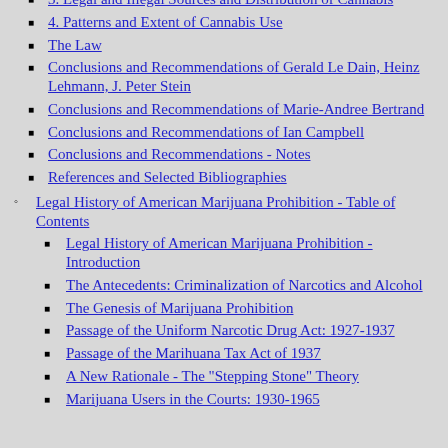3. Legal and Illegal Sources and Distribution of Cannabis
4. Patterns and Extent of Cannabis Use
The Law
Conclusions and Recommendations of Gerald Le Dain, Heinz Lehmann, J. Peter Stein
Conclusions and Recommendations of Marie-Andree Bertrand
Conclusions and Recommendations of Ian Campbell
Conclusions and Recommendations - Notes
References and Selected Bibliographies
Legal History of American Marijuana Prohibition - Table of Contents
Legal History of American Marijuana Prohibition - Introduction
The Antecedents: Criminalization of Narcotics and Alcohol
The Genesis of Marijuana Prohibition
Passage of the Uniform Narcotic Drug Act: 1927-1937
Passage of the Marihuana Tax Act of 1937
A New Rationale - The "Stepping Stone" Theory
Marijuana Users in the Courts: 1930-1965